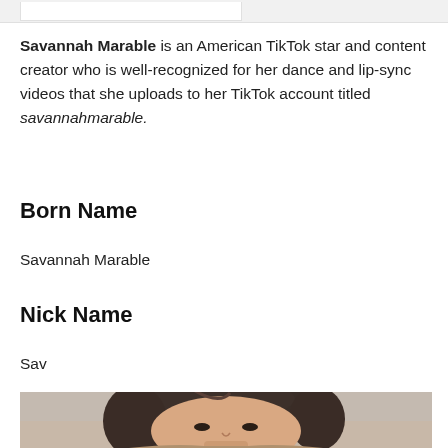Savannah Marable is an American TikTok star and content creator who is well-recognized for her dance and lip-sync videos that she uploads to her TikTok account titled savannahmarable.
Born Name
Savannah Marable
Nick Name
Sav
[Figure (photo): Photo of Savannah Marable, a young woman with dark brown hair pulled back, light skin, seen from roughly chin-up, with a neutral/light background.]